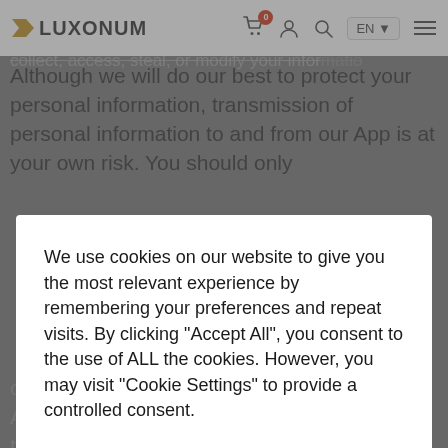LUXONUM
will not be able to defeat our security, and adu collect, access, steal, or modify your infor...
Although we will do our best to protect your personal information, transmission of personal information to and from our App is at your own risk. You should only
We use cookies on our website to give you the most relevant experience by remembering your preferences and repeat visits. By clicking "Accept All", you consent to the use of ALL the cookies. However, you may visit "Cookie Settings" to provide a controlled consent.
children under 18 years of age. By using the App, you represent that you are at least 18 or that you are the parent or guardian of such a minor and consent to such minor dependent's use of the App. If we learn that personal information from users less than 18 years of age has been collected, we will deactivate